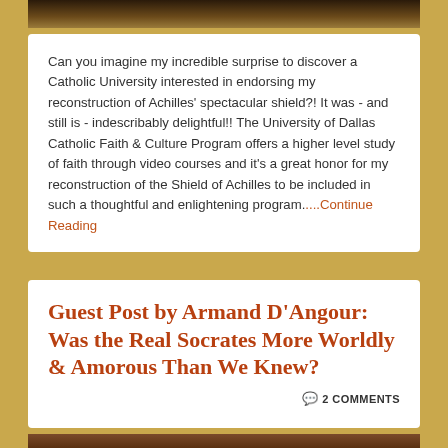[Figure (photo): Decorative image at top, dark golden/brown tones, partially cropped]
Can you imagine my incredible surprise to discover a Catholic University interested in endorsing my reconstruction of Achilles' spectacular shield?! It was - and still is - indescribably delightful!! The University of Dallas Catholic Faith & Culture Program offers a higher level study of faith through video courses and it's a great honor for my reconstruction of the Shield of Achilles to be included in such a thoughtful and enlightening program....Continue Reading
Guest Post by Armand D'Angour: Was the Real Socrates More Worldly & Amorous Than We Knew?
2 COMMENTS
[Figure (photo): Partial image at bottom, warm brown/red tones, partially cropped]